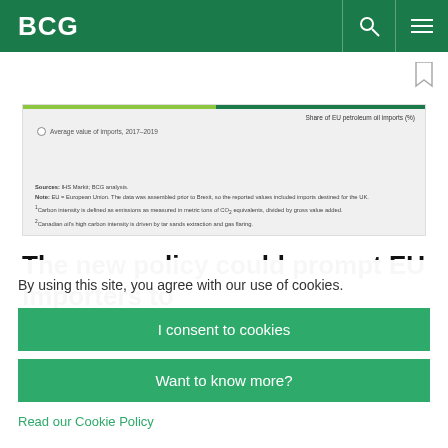BCG
[Figure (other): Partial chart snippet showing a bar/line chart with green color bar at top. Labels visible: 'Share of EU petroleum oil imports (%)' on right, 'Average value of imports, 2017-2019' on left with radio button. Source notes visible below.]
Sources: IHS Markit; BCG analysis. Note: EU = European Union. The data was assembled prior to Brexit, so the reported values included imports destined for the UK. 1Carbon intensity is defined as emissions as measured in metric tons of CO2 equivalents, divided by gross value added. 2Canadian oil's high carbon intensity is driven by tar sands extraction and gas flaring.
The new policy could prompt EU importers to
By using this site, you agree with our use of cookies.
I consent to cookies
Want to know more?
Read our Cookie Policy